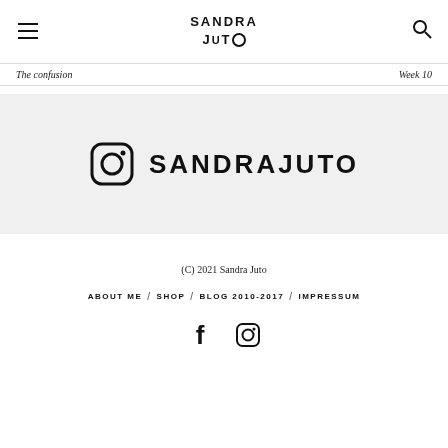SANDRA JUTO
The confusion
Week 10
[Figure (logo): Instagram icon with text SANDRAJUTO in bold uppercase letters on a light grey background banner]
(C) 2021 Sandra Juto
ABOUT ME / SHOP / BLOG 2010-2017 / IMPRESSUM
[Figure (illustration): Facebook and Instagram social media icons]